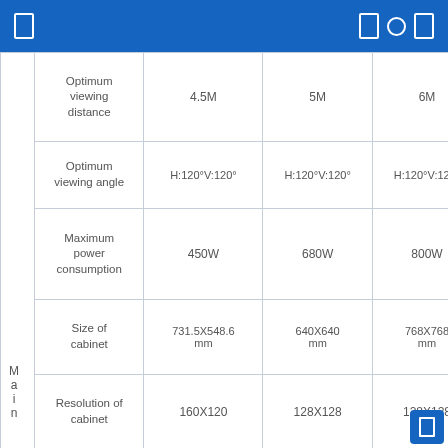|  | Parameter | Model A | Model B | Model C | Model D |
| --- | --- | --- | --- | --- | --- |
|  | Optimum viewing distance | 4.5M | 5M | 6M | 7.5… |
|  | Optimum viewing angle | H:120°V:120° | H:120°V:120° | H:120°V:120° | H:120°… |
|  | Maximum power consumption | 450W | 680W | 800W | 850… |
|  | Size of cabinet | 731.5X548.6 mm | 640X640 mm | 768X768 mm | 976X… m… |
| Main | Resolution of cabinet | 160X120 | 128X128 | 128X128 | 128X… |
|  | Weight of cabinet | 20kg | 40kg | 40kg | 42… |
| T e | Driving | 1/8 Scan,Constant … | 1/8 Scan,Constant … | 1/8 Scan,Constant … | 1/… C… |